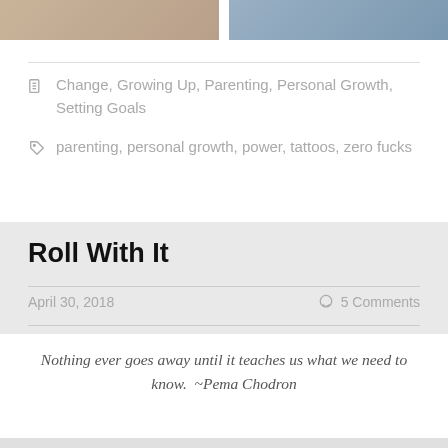[Figure (photo): Two cropped photos side by side at top of page — left shows a person with jewelry/necklace, right shows a person with blue/dark background]
Change, Growing Up, Parenting, Personal Growth, Setting Goals
parenting, personal growth, power, tattoos, zero fucks
Roll With It
April 30, 2018
5 Comments
Nothing ever goes away until it teaches us what we need to know.  ~Pema Chodron